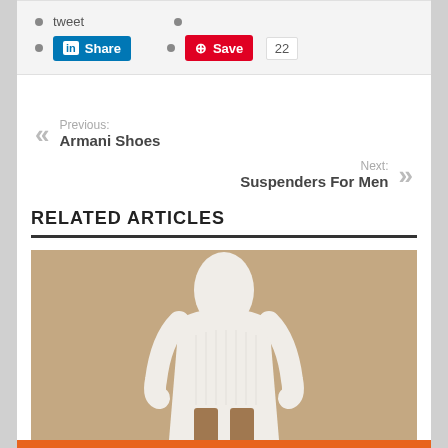tweet
LinkedIn Share
Pinterest Save 22
Previous: Armani Shoes
Next: Suspenders For Men
RELATED ARTICLES
[Figure (photo): A model wearing a white cable-knit long-sleeve sweater dress against a warm beige/brown background]